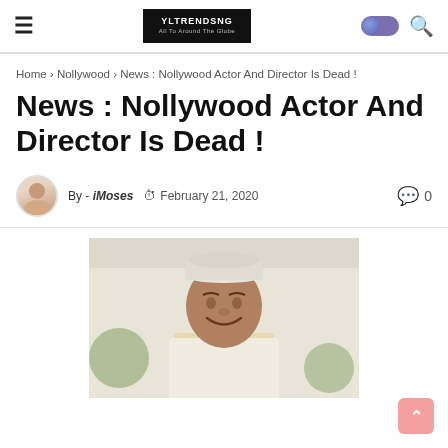YLTRENDSNG | All To Around The Globe
Home › Nollywood › News : Nollywood Actor And Director Is Dead !
News : Nollywood Actor And Director Is Dead !
By - iMoses  February 21, 2020  0
[Figure (photo): Portrait photo of a man wearing a white hat, smiling, outdoors]